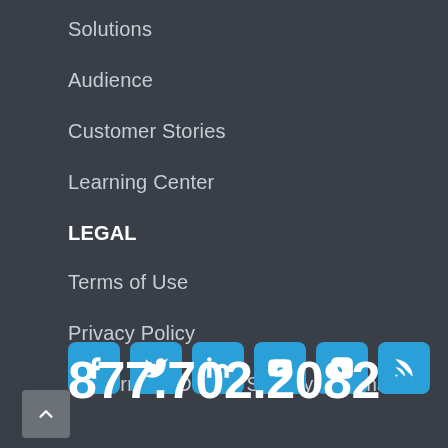Solutions
Audience
Customer Stories
Learning Center
LEGAL
Terms of Use
Privacy Policy
California – Do Not Sell My Information
[Figure (other): Social media icons row: Facebook, Twitter, LinkedIn, YouTube, Instagram, RSS feed]
877.702.2082